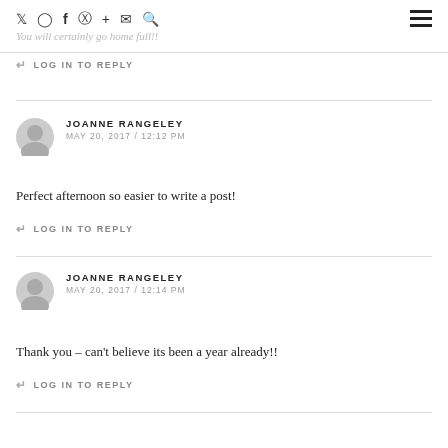Social icons: Twitter, Instagram, Facebook, Pinterest, Plus, Mail, Search | Hamburger menu
You will certainly go home full!!
↩ LOG IN TO REPLY
JOANNE RANGELEY
MAY 20, 2017 / 12:12 PM
Perfect afternoon so easier to write a post!
↩ LOG IN TO REPLY
JOANNE RANGELEY
MAY 20, 2017 / 12:14 PM
Thank you – can't believe its been a year already!!
↩ LOG IN TO REPLY